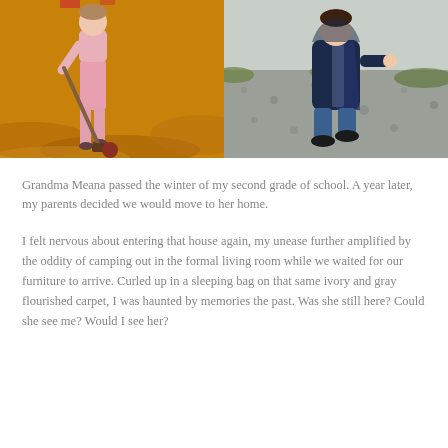[Figure (photo): Two side-by-side childhood photographs. Left: a young child in pink clothing holding a mallet or stick, standing on an orange-toned grass lawn with a ball nearby. Right: a young child in a dark navy coat and jeans walking on a gravel path with green grass in the background.]
Grandma Meana passed the winter of my second grade of school. A year later, my parents decided we would move to her home.
I felt nervous about entering that house again, my unease further amplified by the oddity of camping out in the formal living room while we waited for our furniture to arrive. Curled up in a sleeping bag on that same ivory and gray flourished carpet, I was haunted by memories the past. Was she still here? Could she see me? Would I see her?